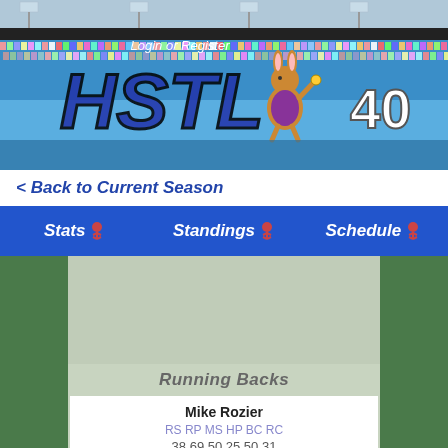[Figure (illustration): HSTL Season 40 website header banner with stadium background, pixel-art crowd, HSTL logo in large italic letters, number 40, and cartoon rabbit mascot holding trophy. Text reads 'Login or Register' at top.]
< Back to Current Season
Stats  Standings  Schedule
Running Backs
| Player | RS | RP | MS | HP | BC | RC |
| --- | --- | --- | --- | --- | --- | --- |
| Mike Rozier | 38 | 69 | 50 | 25 | 50 | 31 |